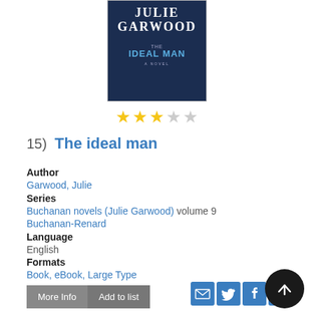[Figure (illustration): Book cover of 'The Ideal Man' by Julie Garwood. Dark blue background with author name at top in large white serif font and title 'THE IDEAL MAN' in blue. Subtitle 'A NOVEL' below.]
[Figure (other): 3 filled yellow stars and 2 empty grey stars — 3 out of 5 star rating]
15)  The ideal man
Author
Garwood, Julie
Series
Buchanan novels (Julie Garwood) volume 9
Buchanan-Renard
Language
English
Formats
Book, eBook, Large Type
Description
Read Description
More Info
Add to list